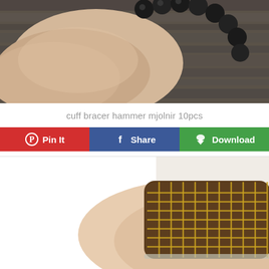[Figure (photo): Close-up photo of a wrist/forearm wearing a black bead bracelet, resting on a dark wood surface]
cuff bracer hammer mjolnir 10pcs
[Figure (infographic): Action bar with three buttons: Pin It (red, Pinterest icon), Share (blue, Facebook icon), Download (green, cloud/download icon)]
[Figure (photo): Photo of a forearm wearing a brown and gold patterned cuff bracer against a white background]